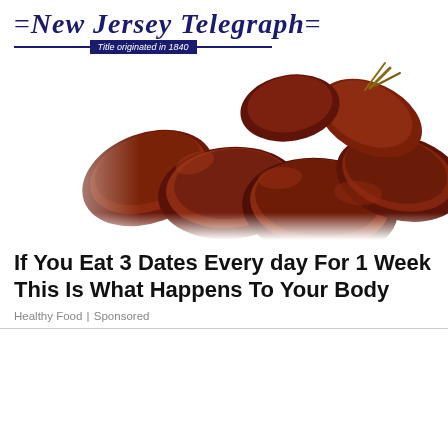=New Jersey Telegraph= Title originated in 1840
[Figure (photo): Close-up photograph of multiple Medjool dates (dried dates fruit) clustered together against a white background. The dates are dark reddish-brown in color.]
If You Eat 3 Dates Every day For 1 Week This Is What Happens To Your Body
Healthy Food | Sponsored